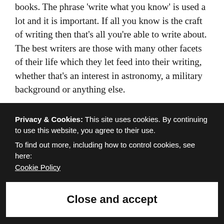books. The phrase 'write what you know' is used a lot and it is important. If all you know is the craft of writing then that's all you're able to write about. The best writers are those with many other facets of their life which they let feed into their writing, whether that's an interest in astronomy, a military background or anything else.
As for myself, I'd quite like to make writing into a career at some point in the future but I accept that that's unlikely. I'm someone who's just starting out on her writing career and I've
Privacy & Cookies: This site uses cookies. By continuing to use this website, you agree to their use.
To find out more, including how to control cookies, see here:
Cookie Policy
Close and accept